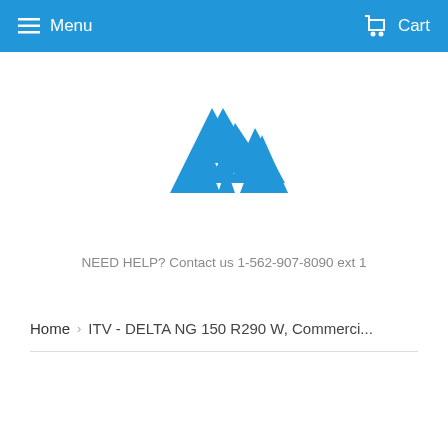Menu   Cart
[Figure (logo): Blue mountain peaks logo icon]
NEED HELP? Contact us 1-562-907-8090 ext 1
Home › ITV - DELTA NG 150 R290 W, Commerci...